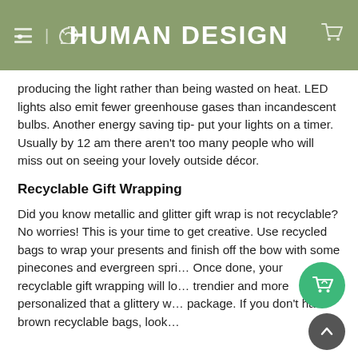HUMAN DESIGN
producing the light rather than being wasted on heat. LED lights also emit fewer greenhouse gases than incandescent bulbs. Another energy saving tip- put your lights on a timer. Usually by 12 am there aren't too many people who will miss out on seeing your lovely outside décor.
Recyclable Gift Wrapping
Did you know metallic and glitter gift wrap is not recyclable? No worries! This is your time to get creative. Use recycled bags to wrap your presents and finish off the bow with some pinecones and evergreen spri… Once done, your recyclable gift wrapping will lo… trendier and more personalized that a glittery w… package. If you don't have brown recyclable bags, look…